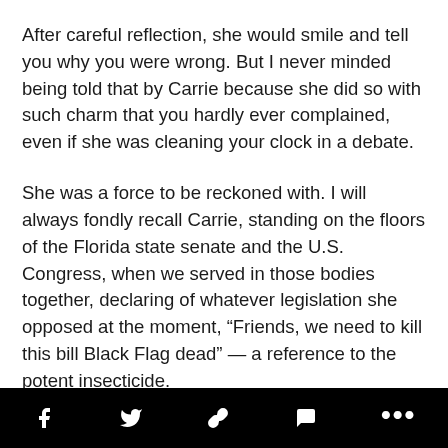After careful reflection, she would smile and tell you why you were wrong. But I never minded being told that by Carrie because she did so with such charm that you hardly ever complained, even if she was cleaning your clock in a debate.
She was a force to be reckoned with. I will always fondly recall Carrie, standing on the floors of the Florida state senate and the U.S. Congress, when we served in those bodies together, declaring of whatever legislation she opposed at the moment, “Friends, we need to kill this bill Black Flag dead” — a reference to the potent insecticide.
Carrie and I worked together on so many issues. She supported me on bills to help the Cuban people be free. I helped her on issues dealing with poverty and desperation
Social sharing bar with icons: Facebook, Twitter, Link, Comment, More